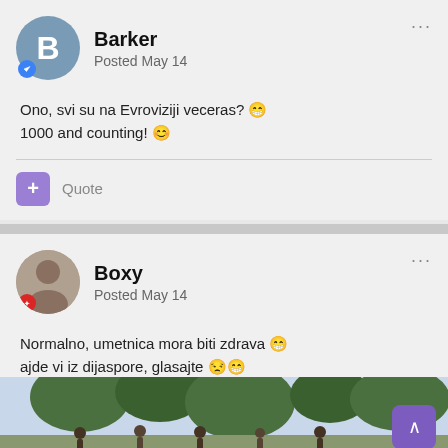Barker
Posted May 14
Ono, svi su na Evroviziji veceras? 😁
1000 and counting! 😊
Quote
Boxy
Posted May 14
Normalno, umetnica mora biti zdrava 😁
ajde vi iz dijaspore, glasajte 😒😁

ego, meni je ova slika jos bolja 😁
[Figure (photo): Group photo of people outdoors under trees]